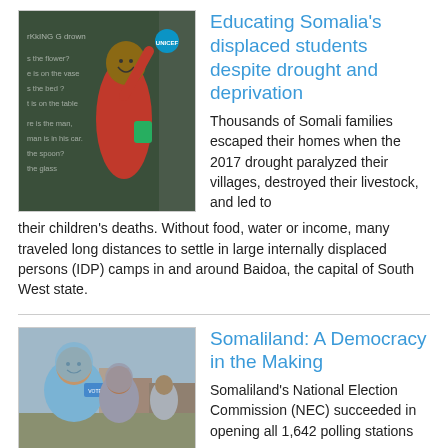[Figure (photo): A child at a chalkboard in a classroom, raising hand, smiling, wearing red clothing.]
Educating Somalia's displaced students despite drought and deprivation
Thousands of Somali families escaped their homes when the 2017 drought paralyzed their villages, destroyed their livestock, and led to their children's deaths. Without food, water or income, many traveled long distances to settle in large internally displaced persons (IDP) camps in and around Baidoa, the capital of South West state.
[Figure (photo): Women in headscarves in an outdoor setting, one holding what appears to be a voting card.]
Somaliland: A Democracy in the Making
Somaliland's National Election Commission (NEC) succeeded in opening all 1,642 polling stations on